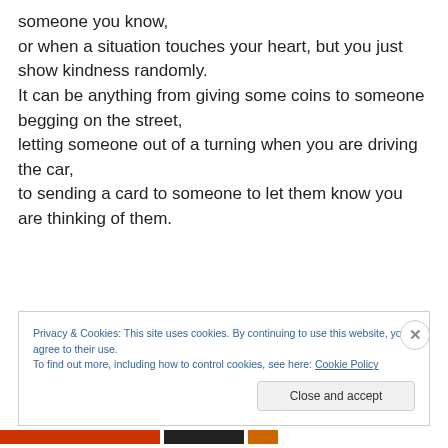someone you know,
or when a situation touches your heart, but you just show kindness randomly.
It can be anything from giving some coins to someone begging on the street,
letting someone out of a turning when you are driving the car,
to sending a card to someone to let them know you are thinking of them.
Privacy & Cookies: This site uses cookies. By continuing to use this website, you agree to their use.
To find out more, including how to control cookies, see here: Cookie Policy
Close and accept